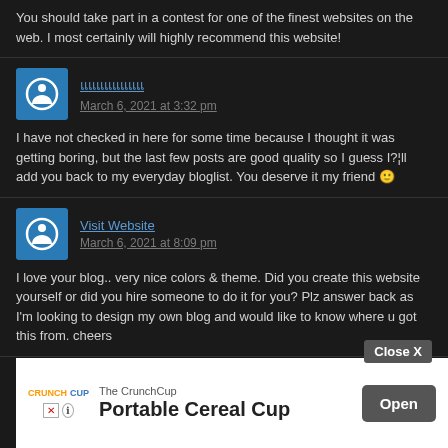You should take part in a contest for one of the finest websites on the web. I most certainly will highly recommend this website!
แแแแแแแแ
March 6, 2021 at 3:32 pm
I have not checked in here for some time because I thought it was getting boring, but the last few posts are good quality so I guess I?¦ll add you back to my everyday bloglist. You deserve it my friend 🙂
Visit Website
March 6, 2021 at 8:09 pm
I love your blog.. very nice colors & theme. Did you create this website yourself or did you hire someone to do it for you? Plz answer back as I'm looking to design my own blog and would like to know where u got this from. cheers
Como fazer Paninhas Para Bebê
There is ... ertain nice
[Figure (other): Advertisement banner for 'The CrunchCup - Portable Cereal Cup' with an Open button and Close X button]